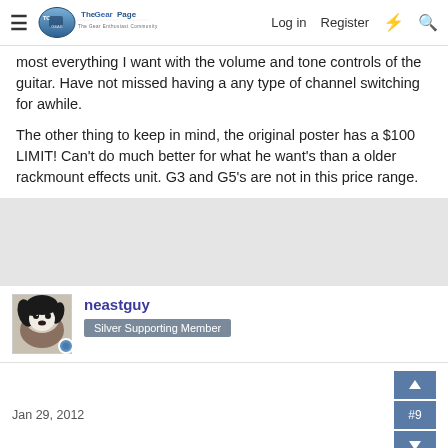The Gear Page — Log in | Register
most everything I want with the volume and tone controls of the guitar. Have not missed having a any type of channel switching for awhile.
The other thing to keep in mind, the original poster has a $100 LIMIT! Can't do much better for what he want's than a older rackmount effects unit. G3 and G5's are not in this price range.
[Figure (other): Gray advertisement/spacer area]
neastguy — Silver Supporting Member
Jan 29, 2012
zoom g3 does look pretty cool... can't tell if it has a harmonizer